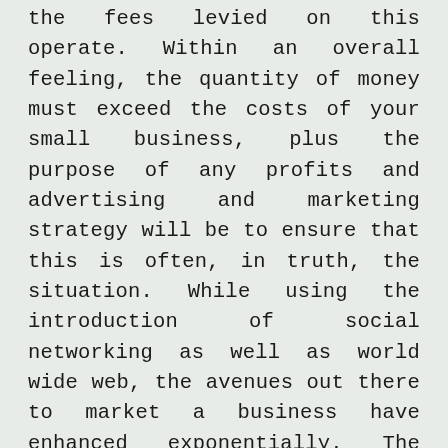the fees levied on this operate. Within an overall feeling, the quantity of money must exceed the costs of your small business, plus the purpose of any profits and advertising and marketing strategy will be to ensure that this is often, in truth, the situation. While using the introduction of social networking as well as world wide web, the avenues out there to market a business have enhanced exponentially. The place to begin for just about any plumbing business enterprise, like all company linked organization, will be to determine in as much depth as is possible who specifically the persons are that might be providing the organization with earnings. These people, as a total, are termed the getting persona of your organization. A plumbing enterprise might, for illustration, decide to stay little and provide after-hours providers to family and friends, or it could